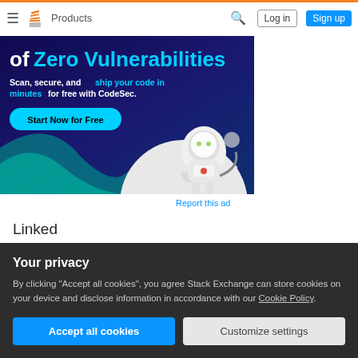≡  [Stack Overflow logo]  Products  🔍  Log in  Sign up
[Figure (screenshot): Advertisement banner for CodeSec: 'of Zero Vulnerabilities. Scan, secure, and ship your code in minutes for free with CodeSec. Start Now for Free' with a cat astronaut illustration on a dark blue/purple background.]
Report this ad
Linked
25  Edit existing excel files using jxl api / Apache POI
Your privacy
By clicking "Accept all cookies", you agree Stack Exchange can store cookies on your device and disclose information in accordance with our Cookie Policy.
Accept all cookies    Customize settings